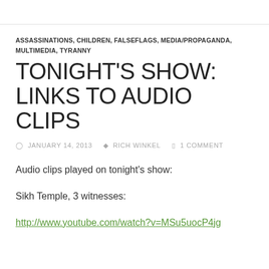ASSASSINATIONS, CHILDREN, FALSEFLAGS, MEDIA/PROPAGANDA, MULTIMEDIA, TYRANNY
TONIGHT'S SHOW: LINKS TO AUDIO CLIPS
JANUARY 14, 2013  RICH WINKEL  1 COMMENT
Audio clips played on tonight's show:
Sikh Temple, 3 witnesses:
http://www.youtube.com/watch?v=MSu5uocP4jg